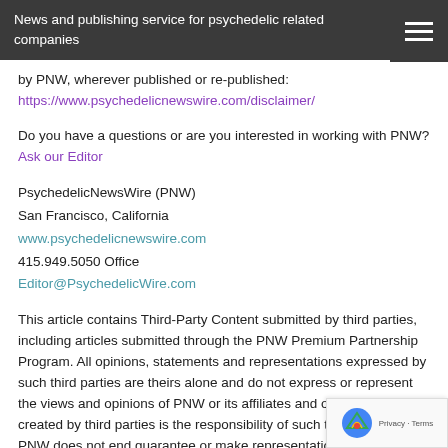News and publishing service for psychedelic related companies
by PNW, wherever published or re-published: https://www.psychedelicnewswire.com/disclaimer/
Do you have a questions or are you interested in working with PNW? Ask our Editor
PsychedelicNewsWire (PNW)
San Francisco, California
www.psychedelicnewswire.com
415.949.5050 Office
Editor@PsychedelicWire.com
This article contains Third-Party Content submitted by third parties, including articles submitted through the PNW Premium Partnership Program. All opinions, statements and representations expressed by such third parties are theirs alone and do not express or represent the views and opinions of PNW or its affiliates and owners. Content created by third parties is the responsibility of such third parties, and PNW does not end guarantee or make representations concerning the accuracy and